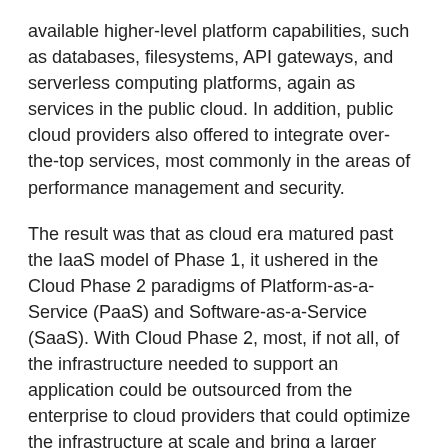available higher-level platform capabilities, such as databases, filesystems, API gateways, and serverless computing platforms, again as services in the public cloud. In addition, public cloud providers also offered to integrate over-the-top services, most commonly in the areas of performance management and security.
The result was that as cloud era matured past the IaaS model of Phase 1, it ushered in the Cloud Phase 2 paradigms of Platform-as-a-Service (PaaS) and Software-as-a-Service (SaaS). With Cloud Phase 2, most, if not all, of the infrastructure needed to support an application could be outsourced from the enterprise to cloud providers that could optimize the infrastructure at scale and bring a larger team of specialists to focus on any broadly required application service. Although this did free the enterprise to focus its technology budget on core business logic, it often caused an undesirable side-effect (from the enterprise's perspective) of "lock in" to a particular cloud vendor. In order to mitigate this effect, enterprises strove to define and codify the expression of their core business value using vendor-agnostic